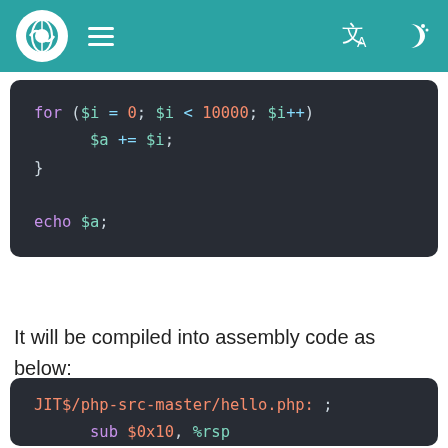Navigation bar with logo, menu, translate and dark mode icons
[Figure (screenshot): PHP code block showing a for loop: for ($i = 0; $i < 10000; $i++) { $a += $i; } followed by echo $a; on dark background]
It will be compiled into assembly code as below:
[Figure (screenshot): Assembly code block showing: JIT$/php-src-master/hello.php: ; sub $0x10, %rsp lea 0x50(%r14), %rdi]